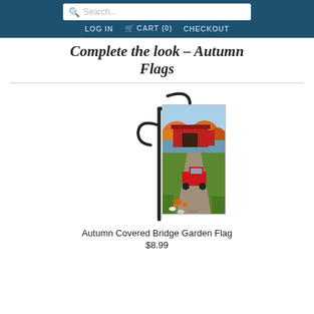Search... | LOG IN | CART (0) | CHECKOUT
Complete the look – Autumn Flags
[Figure (illustration): Garden flag mounted on a decorative black metal pole stand. The flag shows an autumn scene with a red covered bridge, a red vintage pickup truck, autumn-colored trees, pumpkins, and geese/ducks in the foreground. Small artist credit text at the bottom of the flag image.]
Autumn Covered Bridge Garden Flag
$8.99